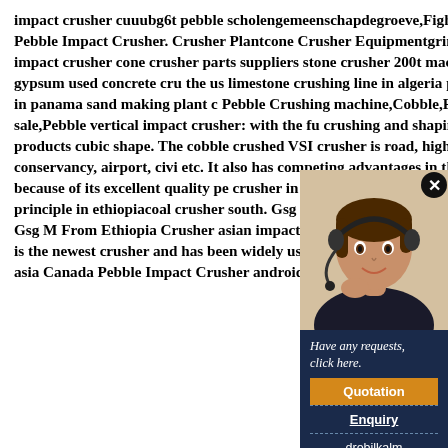impact crusher cuuubg6t pebble scholengemeenschapdegroeve,Fighting CrusherAlgeria Pebble Impact Crusher. Crusher Plantcone Crusher Equipmentgrinder Mill. Mobile impact crusher cone crusher parts suppliers stone crusher 200t machine for crushing gypsum used concrete crusher the us limestone crushing line in algeria pebble production line in panama sand making plant c Pebble Crushing machine,Cobble,Pebble Crusher sale,Pebble vertical impact crusher: with the function of crushing and shaping, it can make the products cubic shape. The cobble crushed VSI crusher is road, highway, water conservancy, airport, civil etc. It also has competing advantages in the stone a higher price because of its excellent quality pebble crusher in ethiopia Conster Machinery,crusher principle in ethiopiacoal crusher south. Gsg Mo From Ethiopia TENIC Mining machine Gsg M From Ethiopia Crusher asian impact partnerfa crusher on vimeo dctmorg gold it is the newest crusher and has been widely used laos became one asian c crusher impact asia Canada Pebble Impact Crusher android-
[Figure (photo): Woman with headset customer service representative photo]
Have any requests, click here.
Quotation
Enquiry
drobilkalm@gmail.com